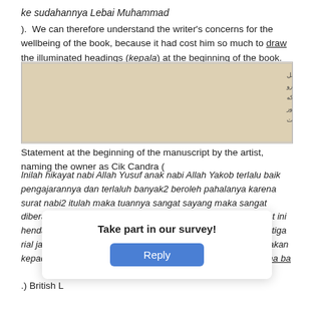ke sudahannya Lebai Muhammad
).  We can therefore understand the writer's concerns for the wellbeing of the book, because it had cost him so much to draw the illuminated headings (kepala) at the beginning of the book.
[Figure (photo): A photograph of a manuscript page with Arabic/Malay script in Jawi writing.]
Statement at the beginning of the manuscript by the artist, naming the owner as Cik Candra (
Inilah hikayat nabi Allah Yusuf anak nabi Allah Yakob terlalu baik pengajarannya dan terlaluh banyak2 beroleh pahalanya karena surat nabi2 itulah maka tuannya sangat sayang maka sangat diberatinya akan surat nabi Yusuf ini barang siapa pinjam surat ini hendaklah pabila baik2 jika binasa surat ini kanalah harganya tiga rial jangan jadi taksir kepada senda kerana sudah senda nyatakan kepada yang meminjam... Candra kerana ba...
.) British L...